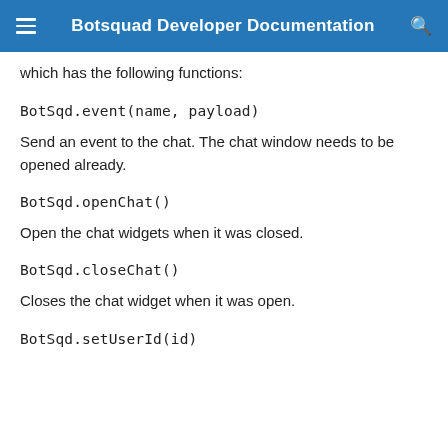Botsquad Developer Documentation
which has the following functions:
Send an event to the chat. The chat window needs to be opened already.
Open the chat widgets when it was closed.
Closes the chat widget when it was open.